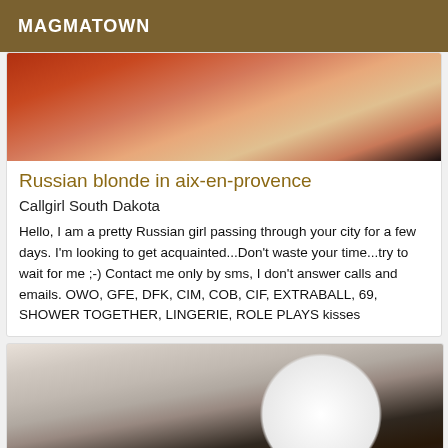MAGMATOWN
[Figure (photo): Close-up photo of a person's skin/back against a red background, top portion of a listing card]
Russian blonde in aix-en-provence
Callgirl South Dakota
Hello, I am a pretty Russian girl passing through your city for a few days. I'm looking to get acquainted...Don't waste your time...try to wait for me ;-) Contact me only by sms, I don't answer calls and emails. OWO, GFE, DFK, CIM, COB, CIF, EXTRABALL, 69, SHOWER TOGETHER, LINGERIE, ROLE PLAYS kisses
[Figure (photo): Photo of a person lying on a bed with white/cream fabric, face obscured by a white circle blur]